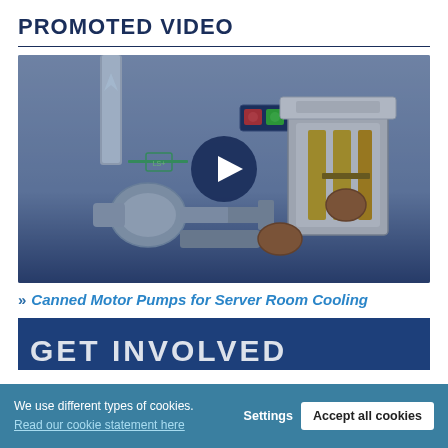PROMOTED VIDEO
[Figure (screenshot): Video thumbnail showing a 3D cutaway illustration of canned motor pumps and valves used in server room cooling systems. A dark navy play button is overlaid in the center of the image.]
» Canned Motor Pumps for Server Room Cooling
[Figure (other): Partial blue banner showing 'GET INVOLVED' heading, cropped at the bottom]
We use different types of cookies. Read our cookie statement here
Settings   Accept all cookies